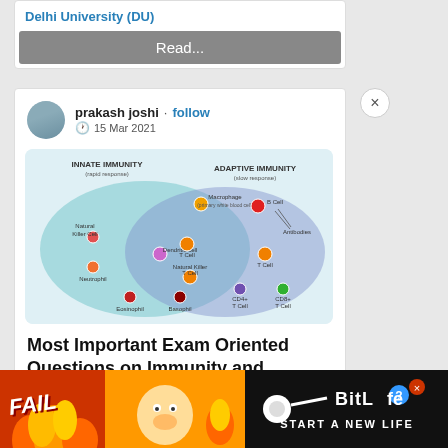Delhi University (DU)
Read...
prakash joshi • follow
15 Mar 2021
[Figure (illustration): Venn diagram showing Innate Immunity (rapid response) and Adaptive Immunity (slow response) with overlapping circle. Innate side: Macrophage (primary white blood cell), Natural Killer Cell, Dendritic cell, Neutrophil, Eosinophil, Basophil. Overlap: T Cell, Natural Killer T Cell. Adaptive side: B Cell, Antibodies, T Cell, CD4+ T Cell, CD8+ T Cell.]
Most Important Exam Oriented Questions on Immunity and
[Figure (illustration): Advertisement banner: FAIL text on orange/fire background with cartoon character, BitLife logo, START A NEW LIFE text]